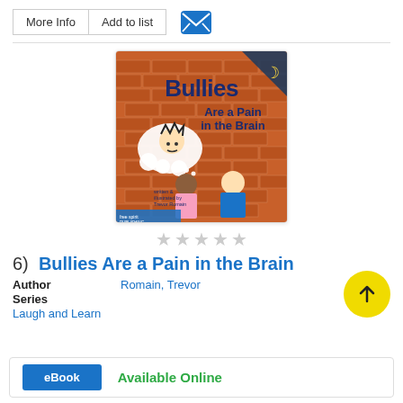[Figure (screenshot): Top bar with More Info and Add to list buttons and a mail/envelope icon]
[Figure (illustration): Book cover of 'Bullies Are a Pain in the Brain' by Trevor Romain, published by Free Spirit Publishing. Shows cartoon children by a brick wall with a thought bubble containing a bully.]
[Figure (other): Five empty/outline star rating icons]
6)  Bullies Are a Pain in the Brain
Author    Romain, Trevor
Series
Laugh and Learn
eBook    Available Online